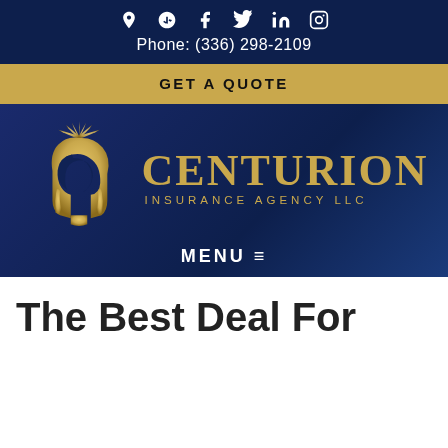Social icons: location, Yelp, Facebook, Twitter, LinkedIn, Instagram
Phone: (336) 298-2109
GET A QUOTE
[Figure (logo): Centurion Insurance Agency LLC logo — gold Roman centurion helmet graphic on the left, gold text 'CENTURION' in large serif font with 'INSURANCE AGENCY LLC' below in smaller spaced sans-serif letters, all on dark navy background]
MENU ≡
The Best Deal For